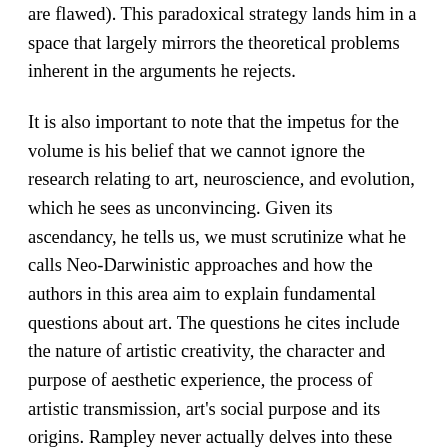are flawed). This paradoxical strategy lands him in a space that largely mirrors the theoretical problems inherent in the arguments he rejects.
It is also important to note that the impetus for the volume is his belief that we cannot ignore the research relating to art, neuroscience, and evolution, which he sees as unconvincing. Given its ascendancy, he tells us, we must scrutinize what he calls Neo-Darwinistic approaches and how the authors in this area aim to explain fundamental questions about art. The questions he cites include the nature of artistic creativity, the character and purpose of aesthetic experience, the process of artistic transmission, art's social purpose and its origins. Rampley never actually delves into these "fundamental questions" himself, and its results